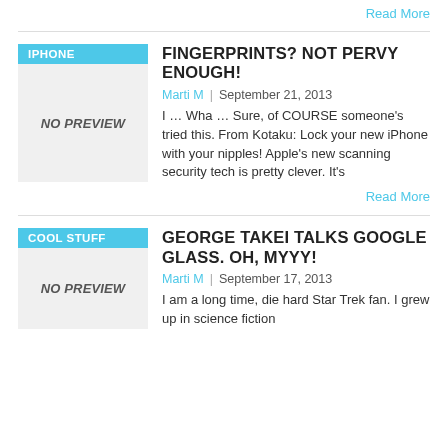Read More
FINGERPRINTS? NOT PERVY ENOUGH!
Marti M | September 21, 2013
I … Wha … Sure, of COURSE someone's tried this. From Kotaku: Lock your new iPhone with your nipples! Apple's new scanning security tech is pretty clever. It's
Read More
GEORGE TAKEI TALKS GOOGLE GLASS. OH, MYYY!
Marti M | September 17, 2013
I am a long time, die hard Star Trek fan. I grew up in science fiction